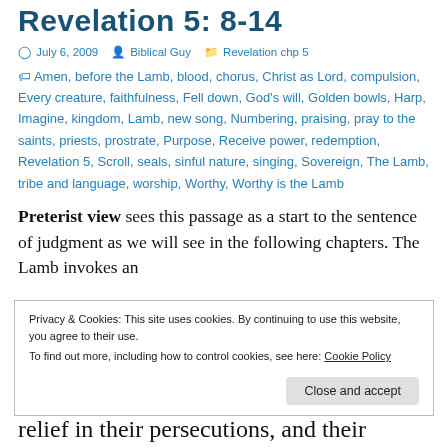Revelation 5: 8-14
July 6, 2009  Biblical Guy  Revelation chp 5
Amen, before the Lamb, blood, chorus, Christ as Lord, compulsion, Every creature, faithfulness, Fell down, God's will, Golden bowls, Harp, Imagine, kingdom, Lamb, new song, Numbering, praising, pray to the saints, priests, prostrate, Purpose, Receive power, redemption, Revelation 5, Scroll, seals, sinful nature, singing, Sovereign, The Lamb, tribe and language, worship, Worthy, Worthy is the Lamb
Preterist view sees this passage as a start to the sentence of judgment as we will see in the following chapters. The Lamb invokes an
Privacy & Cookies: This site uses cookies. By continuing to use this website, you agree to their use.
To find out more, including how to control cookies, see here: Cookie Policy
Close and accept
relief in their persecutions, and their